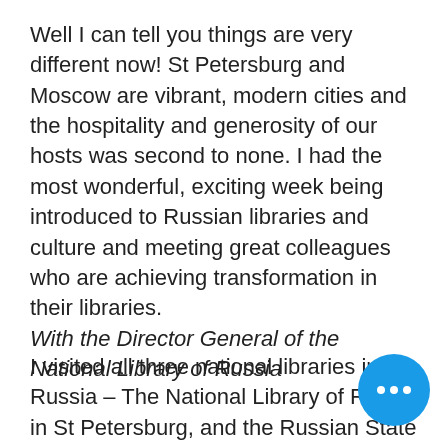Well I can tell you things are very different now! St Petersburg and Moscow are vibrant, modern cities and the hospitality and generosity of our hosts was second to none. I had the most wonderful, exciting week being introduced to Russian libraries and culture and meeting great colleagues who are achieving transformation in their libraries. With the Director General of the National Library of Russia
I visited all three national libraries in Russia – The National Library of Russia in St Petersburg, and the Russian State Library and the Li for Foreign Literature which are both